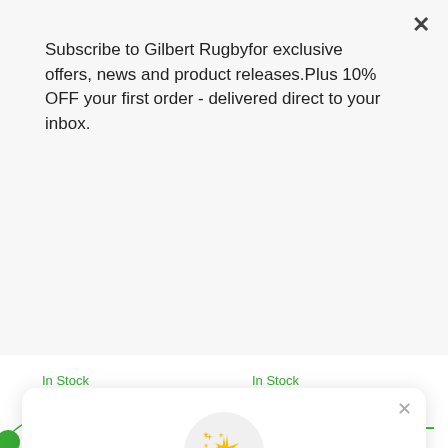Subscribe to Gilbert Rugbyfor exclusive offers, news and product releases.Plus 10% OFF your first order - delivered direct to your inbox.
Subscribe
In Stock
In Stock
[Figure (illustration): Sparkle/star emoji icon inside a light gray circle]
Unlock exclusive rewards and perks
Sign up or Log in
Sign up
Already have an account? Sign in
WHAT ARE RUGBY BALLS MADE FROM??